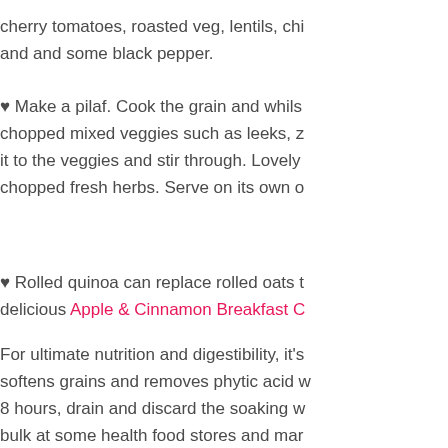cherry tomatoes, roasted veg, lentils, chi and and some black pepper.
♥ Make a pilaf. Cook the grain and whils chopped mixed veggies such as leeks, z it to the veggies and stir through. Lovely chopped fresh herbs. Serve on its own o
♥ Rolled quinoa can replace rolled oats t delicious Apple & Cinnamon Breakfast C
For ultimate nutrition and digestibility, it's softens grains and removes phytic acid w 8 hours, drain and discard the soaking w bulk at some health food stores and mar